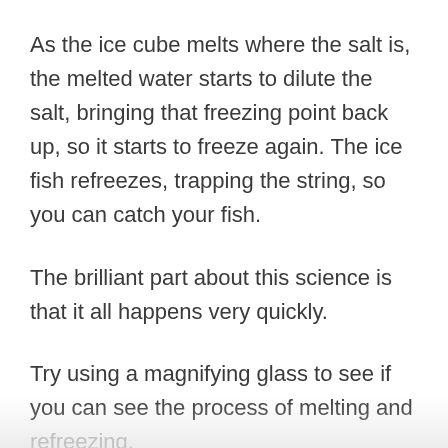As the ice cube melts where the salt is, the melted water starts to dilute the salt, bringing that freezing point back up, so it starts to freeze again. The ice fish refreezes, trapping the string, so you can catch your fish.
The brilliant part about this science is that it all happens very quickly.
Try using a magnifying glass to see if you can see the process of melting and refreezing.